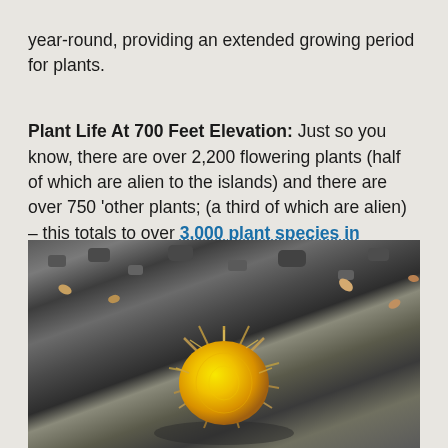year-round, providing an extended growing period for plants.
Plant Life At 700 Feet Elevation: Just so you know, there are over 2,200 flowering plants (half of which are alien to the islands) and there are over 750 'other plants; (a third of which are alien) – this totals to over 3,000 plant species in Hawaii. Scientific studies estimate 800 of native Hawaiian plant species listed as endangered.
[Figure (photo): Close-up photograph of a yellow cactus or spiny plant growing among dark volcanic rocks and dried leaf litter on the ground in Hawaii.]